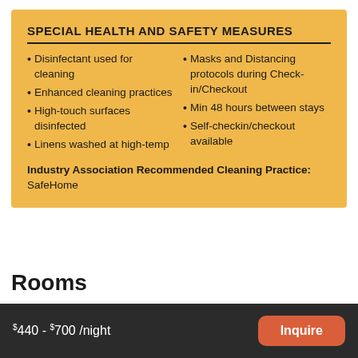SPECIAL HEALTH AND SAFETY MEASURES
Disinfectant used for cleaning
Enhanced cleaning practices
High-touch surfaces disinfected
Linens washed at high-temp
Masks and Distancing protocols during Check-in/Checkout
Min 48 hours between stays
Self-checkin/checkout available
Industry Association Recommended Cleaning Practice: SafeHome
Rooms
$440 - $700 /night  Inquire